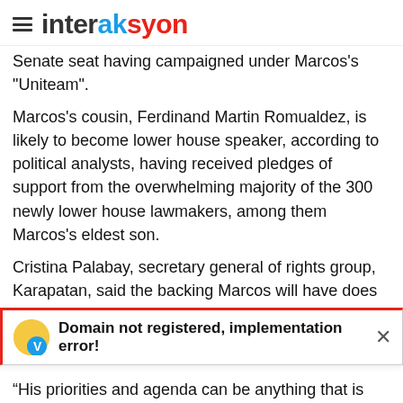interaksyon
Senate seat having campaigned under Marcos's "Uniteam".
Marcos's cousin, Ferdinand Martin Romualdez, is likely to become lower house speaker, according to political analysts, having received pledges of support from the overwhelming majority of the 300 newly lower house lawmakers, among them Marcos's eldest son.
Cristina Palabay, secretary general of rights group, Karapatan, said the backing Marcos will have does not bode well for checks and balances.
"It is worrisome that Marcos and Duterte allies will have
[Figure (screenshot): Notification bar reading 'Domain not registered, implementation error!' with a blue and yellow V icon on the left and an X close button on the right.]
"His priorities and agenda can be anything that is